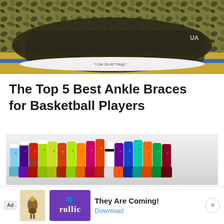[Figure (photo): Close-up photo of a camouflage pattern basketball shoe (Under Armour) on a hardwood court with a blue line. The shoe sole shows white midsole with text inscription.]
The Top 5 Best Ankle Braces for Basketball Players
[Figure (photo): Photo of a large collection of colorful Nike Elite basketball socks arranged in a row on a light background, showing many different color combinations.]
The Best Basketball Socks: A Defi...
Ad  They Are Coming!  Download  (rollic)